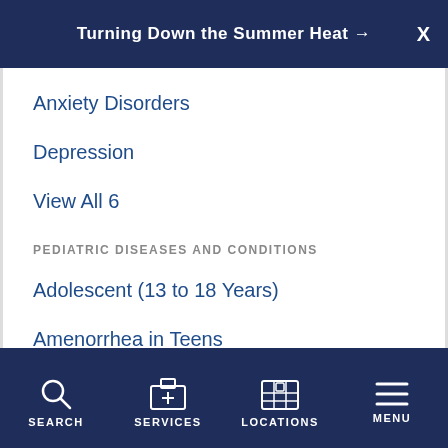Turning Down the Summer Heat →  X
Anxiety Disorders
Depression
View All 6
PEDIATRIC DISEASES AND CONDITIONS
Adolescent (13 to 18 Years)
Amenorrhea in Teens
View All 25
SEARCH  SERVICES  LOCATIONS  MENU